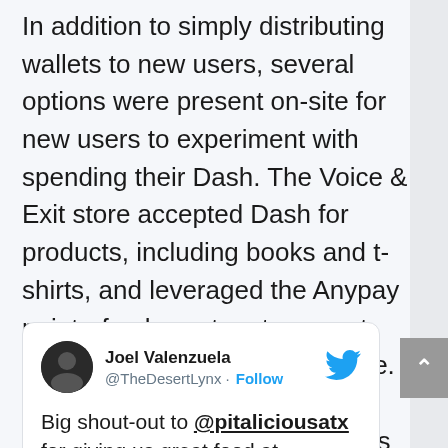In addition to simply distributing wallets to new users, several options were present on-site for new users to experiment with spending their Dash. The Voice & Exit store accepted Dash for products, including books and t-shirts, and leveraged the Anypay point-of-sale system to accept them as seamlessly as possible. Additionally, one of the food trucks on site accepted Dash as well:
[Figure (screenshot): Embedded tweet from Joel Valenzuela (@TheDesertLynx) with Follow button and Twitter bird logo. Tweet text: 'Big shout-out to @pitaliciousatx for giving us great food at @VoiceAndExit and taking $Dash!']